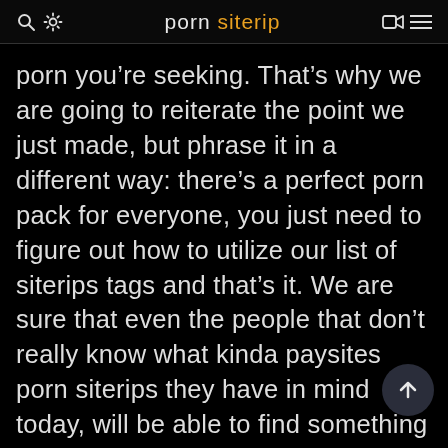porn siterip
porn you’re seeking. That’s why we are going to reiterate the point we just made, but phrase it in a different way: there’s a perfect porn pack for everyone, you just need to figure out how to utilize our list of siterips tags and that’s it. We are sure that even the people that don’t really know what kinda paysites porn siterips they have in mind today, will be able to find something that catches their attention whilst scrolling through this list. By the way, a brand-new Cleo Clementine ManyVids pornstars pack sounds like a pretty hot option, does it not? Either way, we have to point out the obvious: our collection is evolving on a daily fucking basis, which means there are lots and lots of fresh XXX stream siterips and siterips to keep you entertained all throughout. The